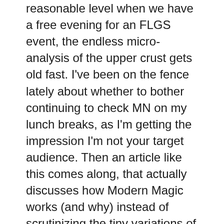reasonable level when we have a free evening for an FLGS event, the endless micro-analysis of the upper crust gets old fast. I've been on the fence lately about whether to bother continuing to check MN on my lunch breaks, as I'm getting the impression I'm not your target audience. Then an article like this comes along, that actually discusses how Modern Magic works (and why) instead of scrutinizing the tiny variations of a small minority's decades-old decklists, and I wonder if maybe I should stick around.
Even so, perhaps I should just ask directly: If I have no aspirations of getting onto the Pro Tour, am I part of your target audience? Or should I just check the archives every couple of months in case something good gets posted?